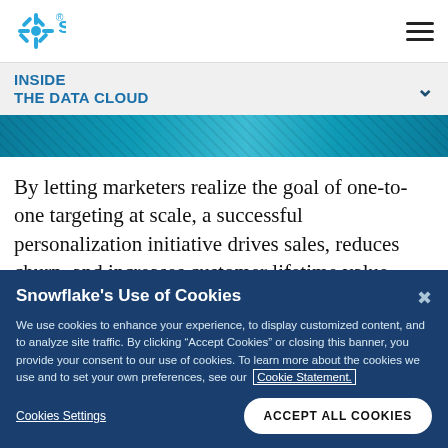snowflake
INSIDE THE DATA CLOUD
[Figure (photo): Aerial/abstract teal and blue image used as hero banner]
By letting marketers realize the goal of one-to-one targeting at scale, a successful personalization initiative drives sales, reduces churn, and increases customer lifetime value.
Snowflake's Use of Cookies
We use cookies to enhance your experience, to display customized content, and to analyze site traffic. By clicking "Accept Cookies" or closing this banner, you provide your consent to our use of cookies. To learn more about the cookies we use and to set your own preferences, see our Cookie Statement.
Cookies Settings
ACCEPT ALL COOKIES